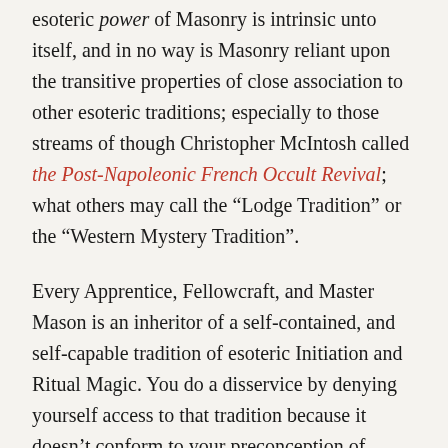esoteric power of Masonry is intrinsic unto itself, and in no way is Masonry reliant upon the transitive properties of close association to other esoteric traditions; especially to those streams of though Christopher McIntosh called the Post-Napoleonic French Occult Revival; what others may call the “Lodge Tradition” or the “Western Mystery Tradition”.
Every Apprentice, Fellowcraft, and Master Mason is an inheritor of a self-contained, and self-capable tradition of esoteric Initiation and Ritual Magic. You do a disservice by denying yourself access to that tradition because it doesn’t conform to your preconception of “esoteric”, cf. divesting yourself of all